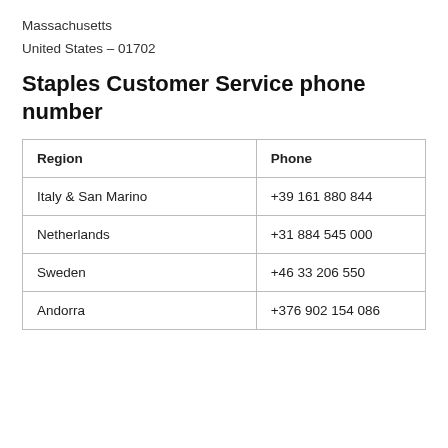Massachusetts
United States – 01702
Staples Customer Service phone number
| Region | Phone |
| --- | --- |
| Italy & San Marino | +39 161 880 844 |
| Netherlands | +31 884 545 000 |
| Sweden | +46 33 206 550 |
| Andorra | +376 902 154 086 |